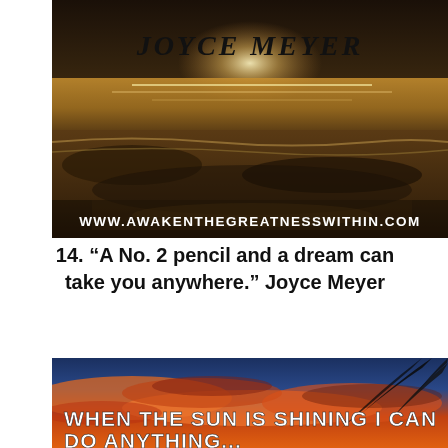[Figure (photo): Beach/coastal sunset scene with light reflecting on wet sand and ocean waves. Text overlaid: 'JOYCE MEYER' in dark italic font at top center, and 'WWW.AWAKENTHEGREATNESSWITHIN.COM' in white bold text at bottom.]
14. “A No. 2 pencil and a dream can take you anywhere.” Joyce Meyer
[Figure (photo): Colorful sunset sky with orange and red clouds, palm fronds visible at right. White text overlay beginning: 'WHEN THE SUN IS SHINING I CAN DO ANYTHING...']